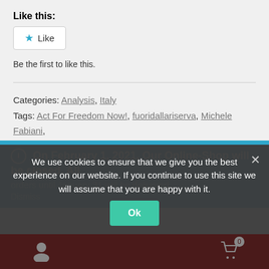Like this:
★ Like
Be the first to like this.
Categories: Analysis, Italy
Tags: Act For Freedom Now!, fuoridallariserva, Michele Fabiani, Operation Sibilla
On February 1, 2021, Our Online-Shop will be closed. All orders until January 31 will be delivered
Dismiss
We use cookies to ensure that we give you the best experience on our website. If you continue to use this site we will assume that you are happy with it.
Ok